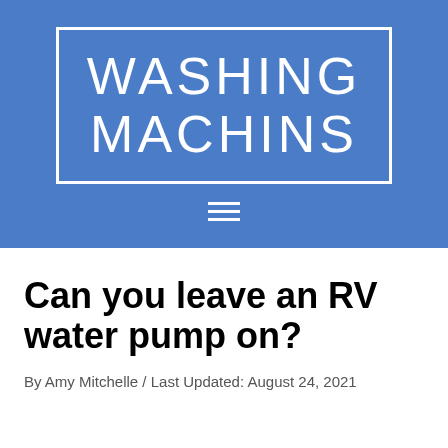[Figure (logo): Blue banner with white bordered box containing text 'WASHING MACHINS' in large uppercase white letters, with a hamburger menu icon below]
Can you leave an RV water pump on?
By Amy Mitchelle / Last Updated: August 24, 2021